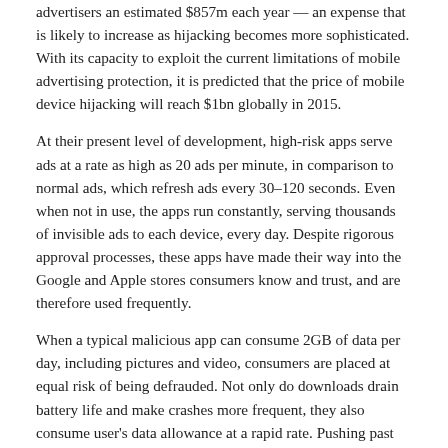advertisers an estimated $857m each year — an expense that is likely to increase as hijacking becomes more sophisticated. With its capacity to exploit the current limitations of mobile advertising protection, it is predicted that the price of mobile device hijacking will reach $1bn globally in 2015.
At their present level of development, high-risk apps serve ads at a rate as high as 20 ads per minute, in comparison to normal ads, which refresh ads every 30–120 seconds. Even when not in use, the apps run constantly, serving thousands of invisible ads to each device, every day. Despite rigorous approval processes, these apps have made their way into the Google and Apple stores consumers know and trust, and are therefore used frequently.
When a typical malicious app can consume 2GB of data per day, including pictures and video, consumers are placed at equal risk of being defrauded. Not only do downloads drain battery life and make crashes more frequent, they also consume user's data allowance at a rapid rate. Pushing past pre-paid limits, the voracious consumption of mobile data forces users to pay higher rates for exceeding their allocated data package.
As mobile usage overtakes desktop, advertisers will continue to develop new technologies to access consumers and fraudsters will never be far behind. It's a perpetual arms race that can only